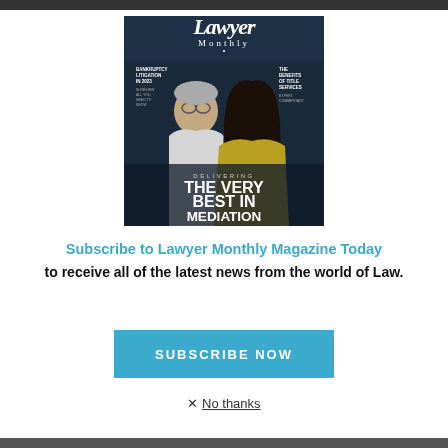[Figure (illustration): Lawyer Monthly magazine cover showing two women, with text 'DELIVERING THE VERY BEST IN MEDIATION WITH QUALITY LAW AND CORPORATE SERVICES']
Subscribe to Lawyer Monthly Magazine Today
to receive all of the latest news from the world of Law.
SUBSCRIBE NOW
✕ No thanks